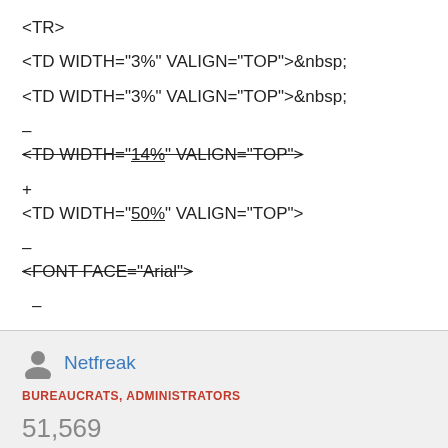<TR>
<TD WIDTH="3%" VALIGN="TOP">&nbsp;
<TD WIDTH="3%" VALIGN="TOP">&nbsp;
–
<TD WIDTH="14%" VALIGN="TOP"> (strikethrough)
+
<TD WIDTH="50%" VALIGN="TOP">
–
<FONT FACE="Arial"> (strikethrough)
–
Netfreak
BUREAUCRATS, ADMINISTRATORS
51,569
EDITS